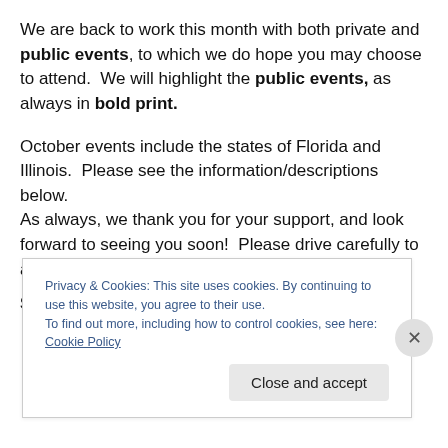We are back to work this month with both private and public events, to which we do hope you may choose to attend.  We will highlight the public events, as always in bold print.
October events include the states of Florida and Illinois.  Please see the information/descriptions below. As always, we thank you for your support, and look forward to seeing you soon!  Please drive carefully to and from our events, as you are loved by many!.
Sincerely,
Privacy & Cookies: This site uses cookies. By continuing to use this website, you agree to their use.
To find out more, including how to control cookies, see here: Cookie Policy